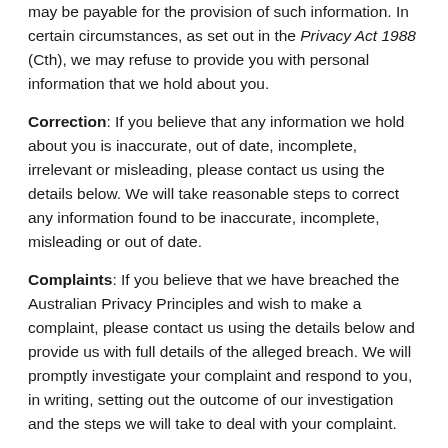may be payable for the provision of such information. In certain circumstances, as set out in the Privacy Act 1988 (Cth), we may refuse to provide you with personal information that we hold about you.
Correction: If you believe that any information we hold about you is inaccurate, out of date, incomplete, irrelevant or misleading, please contact us using the details below. We will take reasonable steps to correct any information found to be inaccurate, incomplete, misleading or out of date.
Complaints: If you believe that we have breached the Australian Privacy Principles and wish to make a complaint, please contact us using the details below and provide us with full details of the alleged breach. We will promptly investigate your complaint and respond to you, in writing, setting out the outcome of our investigation and the steps we will take to deal with your complaint.
Unsubscribe: To unsubscribe from our e-mail database or opt-out of communications (including marketing communications), please contact us using the details below or opt-out using the opt-out facilities provided in the